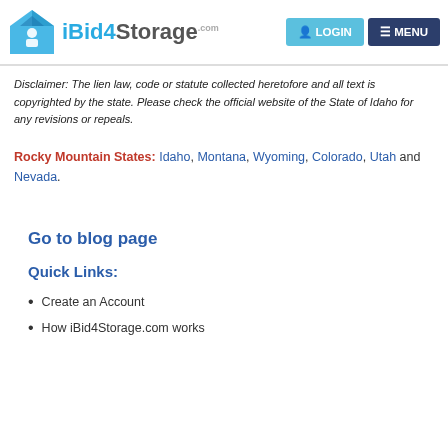iBid4Storage LOGIN MENU
Disclaimer: The lien law, code or statute collected heretofore and all text is copyrighted by the state. Please check the official website of the State of Idaho for any revisions or repeals.
Rocky Mountain States: Idaho, Montana, Wyoming, Colorado, Utah and Nevada.
Go to blog page
Quick Links:
Create an Account
How iBid4Storage.com works